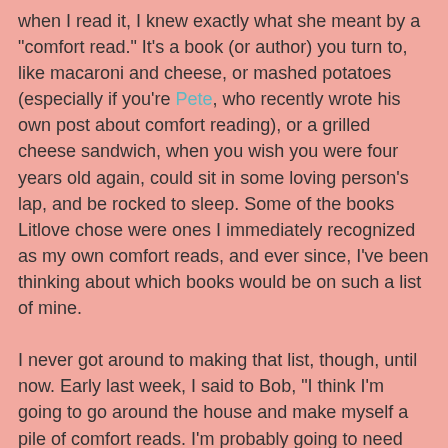when I read it, I knew exactly what she meant by a "comfort read." It's a book (or author) you turn to, like macaroni and cheese, or mashed potatoes (especially if you're Pete, who recently wrote his own post about comfort reading), or a grilled cheese sandwich, when you wish you were four years old again, could sit in some loving person's lap, and be rocked to sleep. Some of the books Litlove chose were ones I immediately recognized as my own comfort reads, and ever since, I've been thinking about which books would be on such a list of mine.

I never got around to making that list, though, until now. Early last week, I said to Bob, "I think I'm going to go around the house and make myself a pile of comfort reads. I'm probably going to need them for a while." Well, come to find out, our house is full of comfort reads. I could have made piles of 100s of books. I decided I was only going to choose ten, though, which means I needed to do something to help me narrow my selections. Finally I decided, maybe I ought to choose ten that I haven't read in at least ten years. So, out went Three Men in a Boat (a book I turn to in almost every crisis), as did all of David Sedaris and I Capture the Castle. As well as...